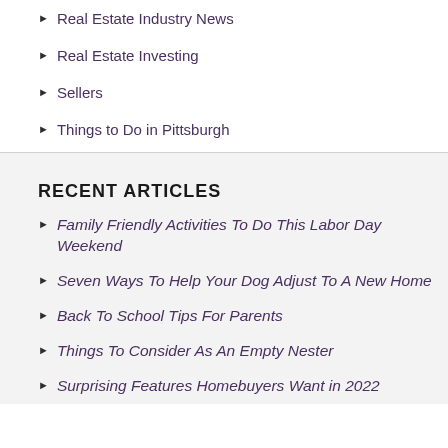Real Estate Industry News
Real Estate Investing
Sellers
Things to Do in Pittsburgh
RECENT ARTICLES
Family Friendly Activities To Do This Labor Day Weekend
Seven Ways To Help Your Dog Adjust To A New Home
Back To School Tips For Parents
Things To Consider As An Empty Nester
Surprising Features Homebuyers Want in 2022